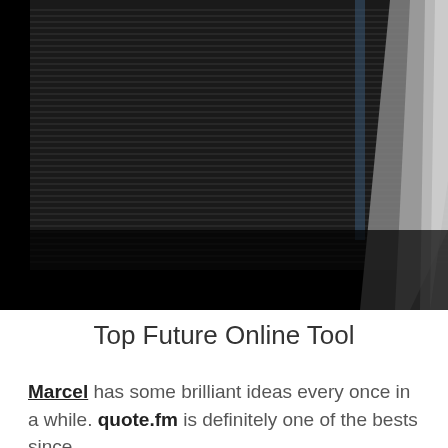[Figure (photo): Dark architectural/abstract photograph showing horizontal blinds or louvers on a building facade, lit from the right side with a bright diagonal beam of light against a black background.]
Top Future Online Tool
Marcel has some brilliant ideas every once in a while. quote.fm is definitely one of the bests since